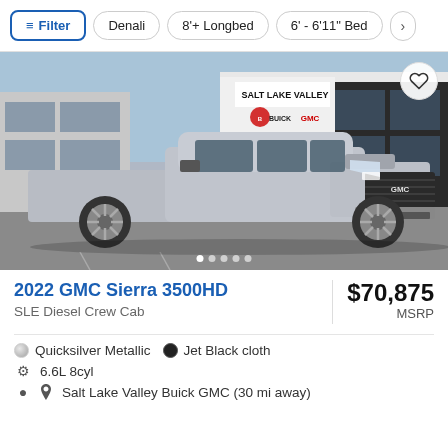Filter | Denali | 8'+ Longbed | 6' - 6'11" Bed | >
[Figure (photo): Silver 2022 GMC Sierra 3500HD truck parked in front of Salt Lake Valley Buick GMC dealership building]
2022 GMC Sierra 3500HD
SLE Diesel Crew Cab
$70,875 MSRP
Quicksilver Metallic   Jet Black cloth
6.6L 8cyl
Salt Lake Valley Buick GMC (30 mi away)